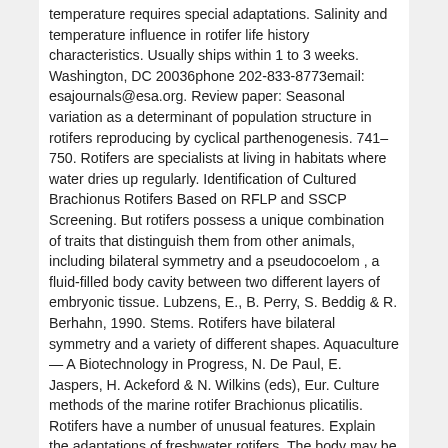temperature requires special adaptations. Salinity and temperature influence in rotifer life history characteristics. Usually ships within 1 to 3 weeks. Washington, DC 20036phone 202-833-8773email: esajournals@esa.org. Review paper: Seasonal variation as a determinant of population structure in rotifers reproducing by cyclical parthenogenesis. 741–750. Rotifers are specialists at living in habitats where water dries up regularly. Identification of Cultured Brachionus Rotifers Based on RFLP and SSCP Screening. But rotifers possess a unique combination of traits that distinguish them from other animals, including bilateral symmetry and a pseudocoelom , a fluid-filled body cavity between two different layers of embryonic tissue. Lubzens, E., B. Perry, S. Beddig & R. Berhahn, 1990. Stems. Rotifers have bilateral symmetry and a variety of different shapes. Aquaculture — A Biotechnology in Progress, N. De Paul, E. Jaspers, H. Ackeford & N. Wilkins (eds), Eur. Culture methods of the marine rotifer Brachionus plicatilis. Rotifers have a number of unusual features. Explain the adaptations of freshwater rotifers. The body may be spherical, flattened, bag-like, or wormlike. In general, the body of a rotifer consists of 3 regions: a head, a trunk and a foot. Special Issue "Biodiversity of Rotifers" Special Issue